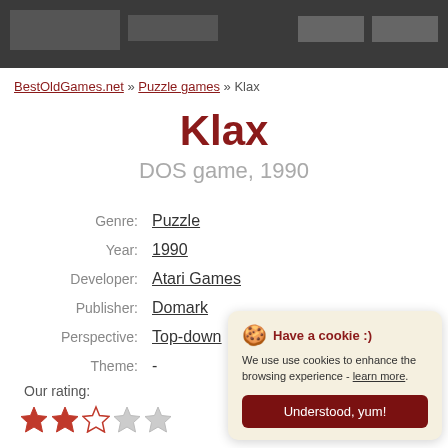BestOldGames.net header banner
BestOldGames.net » Puzzle games » Klax
Klax
DOS game, 1990
| Field | Value |
| --- | --- |
| Genre: | Puzzle |
| Year: | 1990 |
| Developer: | Atari Games |
| Publisher: | Domark |
| Perspective: | Top-down |
| Theme: | - |
Our rating:
[Figure (other): Star rating display: 3 out of 5 stars (3 red stars, 1 half gray, 1 gray)]
Have a cookie :) We use use cookies to enhance the browsing experience - learn more. Understood, yum!